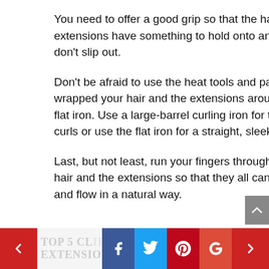You need to offer a good grip so that the hair extensions have something to hold onto and don't slip out.
Don't be afraid to use the heat tools and pave wrapped your hair and the extensions around the flat iron. Use a large-barrel curling iron for the big curls or use the flat iron for a straight, sleek look.
Last, but not least, run your fingers through your hair and the extensions so that they all can fall and flow in a natural way.
TOP 5 CL... EXTENSIONS REVIEWS (with social share buttons)